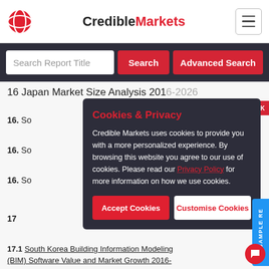CredibleMarkets
Search Report Title
16 Japan Market Size Analysis 2016-2026
16. So
16. So
16. So
Cookies & Privacy
Credible Markets uses cookies to provide you with a more personalized experience. By browsing this website you agree to our use of cookies. Please read our Privacy Policy for more information on how we use cookies.
17
17.1 South Korea Building Information Modeling (BIM) Software Value and Market Growth 2016-